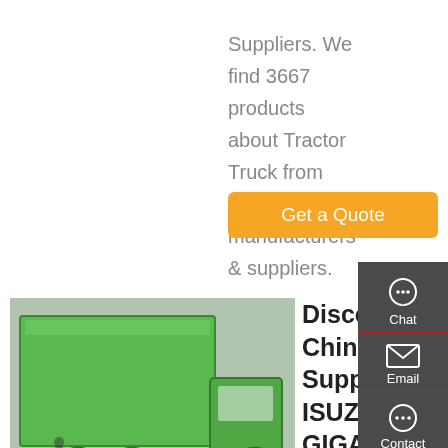Suppliers. We find 3667 products about Tractor Truck from 133 manufacturers & suppliers.
[Figure (other): Orange 'Get a Quote' button]
[Figure (photo): Green ISUZU GIGA tractor truck viewed from rear-left angle]
Discount China Supplier ISUZU GIGA 4x2 420 Hp Tractor Truck Suppliers - Wholesale ...
As one of the most professional china supplier isuzu giga 4x2 420 hp tractor truck suppliers in
[Figure (other): Dark sidebar with Chat, Email, Contact, and Top icons]